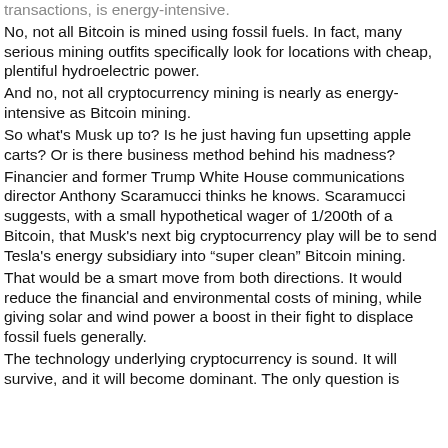transactions, is energy-intensive.
No, not all Bitcoin is mined using fossil fuels. In fact, many serious mining outfits specifically look for locations with cheap, plentiful hydroelectric power.
And no, not all cryptocurrency mining is nearly as energy-intensive as Bitcoin mining.
So what's Musk up to? Is he just having fun upsetting apple carts? Or is there business method behind his madness?
Financier and former Trump White House communications director Anthony Scaramucci thinks he knows. Scaramucci suggests, with a small hypothetical wager of 1/200th of a Bitcoin, that Musk's next big cryptocurrency play will be to send Tesla's energy subsidiary into "super clean" Bitcoin mining.
That would be a smart move from both directions. It would reduce the financial and environmental costs of mining, while giving solar and wind power a boost in their fight to displace fossil fuels generally.
The technology underlying cryptocurrency is sound. It will survive, and it will become dominant. The only question is